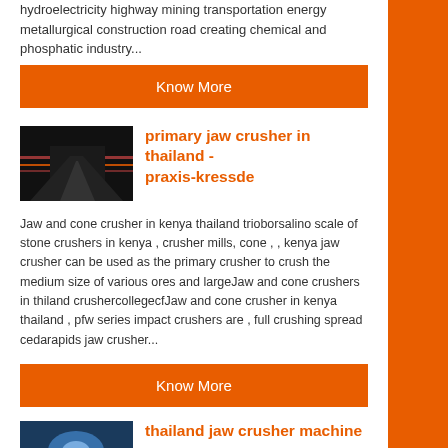hydroelectricity highway mining transportation energy metallurgical construction road creating chemical and phosphatic industry...
Know More
[Figure (photo): Thumbnail image of a road or conveyor with orange and red tones on dark background]
primary jaw crusher in thailand - praxis-kressde
Jaw and cone crusher in kenya thailand trioborsalino scale of stone crushers in kenya , crusher mills, cone , , kenya jaw crusher can be used as the primary crusher to crush the medium size of various ores and largeJaw and cone crushers in thiland crushercollegecfJaw and cone crusher in kenya thailand , pfw series impact crushers are , full crushing spread cedarapids jaw crusher...
Know More
[Figure (photo): Thumbnail image with blue and white tones, possibly a crusher or industrial machine]
thailand jaw crusher machine apr - supervisie-mariankramersnl
small stone crushing machine in thailand small stone crushing machine in thailand 300 400TPH Cone Crusher Plant price for sale supplier factory in 19 Apr small stone